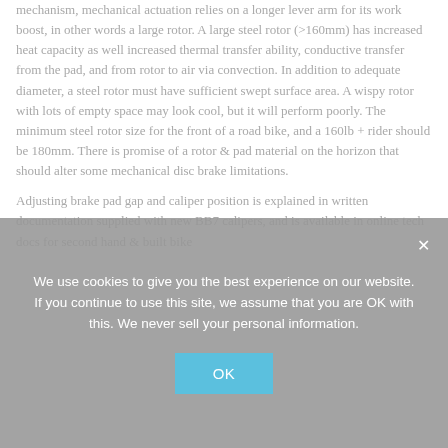mechanism, mechanical actuation relies on a longer lever arm for its work boost, in other words a large rotor. A large steel rotor (>160mm) has increased heat capacity as well increased thermal transfer ability, conductive transfer from the pad, and from rotor to air via convection. In addition to adequate diameter, a steel rotor must have sufficient swept surface area. A wispy rotor with lots of empty space may look cool, but it will perform poorly. The minimum steel rotor size for the front of a road bike, and a 160lb + rider should be 180mm. There is promise of a rotor & pad material on the horizon that should alter some mechanical disc brake limitations.
Adjusting brake pad gap and caliper position is explained in written documentation supplied with new BB7 calipers, and is available in online tech docs for second hand & built bike
We use cookies to give you the best experience on our website. If you continue to use this site, we assume that you are OK with this. We never sell your personal information.